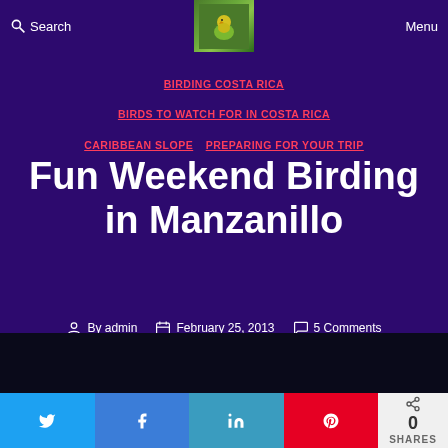Search | Menu
[Figure (photo): Small yellow bird perched on a branch with green background]
BIRDING COSTA RICA | BIRDS TO WATCH FOR IN COSTA RICA | CARIBBEAN SLOPE | PREPARING FOR YOUR TRIP
Fun Weekend Birding in Manzanillo
By admin | February 25, 2013 | 5 Comments
[Figure (photo): Dark bottom section of webpage]
0 SHARES